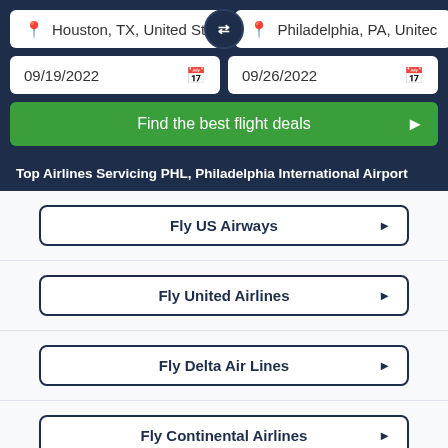Houston, TX, United States
Philadelphia, PA, United States
09/19/2022
09/26/2022
Find the best flight deals
Top Airlines Servicing PHL, Philadelphia International Airport
Fly US Airways
Fly United Airlines
Fly Delta Air Lines
Fly Continental Airlines